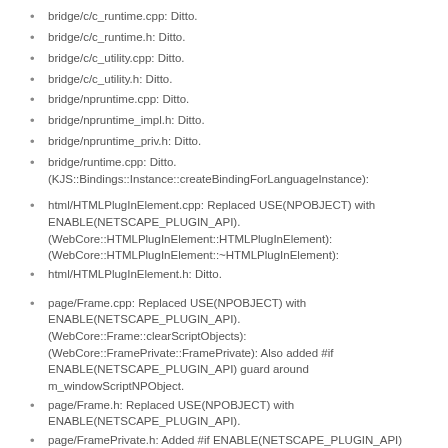bridge/c/c_runtime.cpp: Ditto.
bridge/c/c_runtime.h: Ditto.
bridge/c/c_utility.cpp: Ditto.
bridge/c/c_utility.h: Ditto.
bridge/npruntime.cpp: Ditto.
bridge/npruntime_impl.h: Ditto.
bridge/npruntime_priv.h: Ditto.
bridge/runtime.cpp: Ditto. (KJS::Bindings::Instance::createBindingForLanguageInstance):
html/HTMLPlugInElement.cpp: Replaced USE(NPOBJECT) with ENABLE(NETSCAPE_PLUGIN_API). (WebCore::HTMLPlugInElement::HTMLPlugInElement): (WebCore::HTMLPlugInElement::~HTMLPlugInElement):
html/HTMLPlugInElement.h: Ditto.
page/Frame.cpp: Replaced USE(NPOBJECT) with ENABLE(NETSCAPE_PLUGIN_API). (WebCore::Frame::clearScriptObjects): (WebCore::FramePrivate::FramePrivate): Also added #if ENABLE(NETSCAPE_PLUGIN_API) guard around m_windowScriptNPObject.
page/Frame.h: Replaced USE(NPOBJECT) with ENABLE(NETSCAPE_PLUGIN_API).
page/FramePrivate.h: Added #if ENABLE(NETSCAPE_PLUGIN_API) guard around m_windowScriptNPObject.
page/mac/FrameMac.mm: Replaced USE(NPOBJECT) with ENABLE(NETSCAPE_PLUGIN_API).